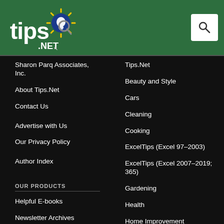[Figure (logo): tips.net logo with sun/lightbulb graphic on green header bar]
Sharon Parq Associates, Inc.
About Tips.Net
Contact Us
Advertise with Us
Our Privacy Policy
Author Index
OUR PRODUCTS
Helpful E-books
Newsletter Archives
Tips.Net
Beauty and Style
Cars
Cleaning
Cooking
ExcelTips (Excel 97–2003)
ExcelTips (Excel 2007–2019; 365)
Gardening
Health
Home Improvement
Money and Finances
Organizing
Pests and Bugs